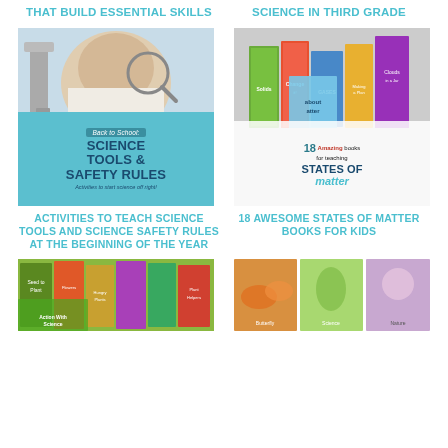THAT BUILD ESSENTIAL SKILLS
SCIENCE IN THIRD GRADE
[Figure (photo): Back to School Science Tools & Safety Rules book cover — child looking through magnifying glass at microscope slide, with teal/blue background and bold text reading 'SCIENCE TOOLS & SAFETY RULES — Activities to start science off right!']
[Figure (photo): 18 Amazing books for teaching States of Matter — collection of colorful children's science books about solids, liquids, gases, and matter displayed together]
ACTIVITIES TO TEACH SCIENCE TOOLS AND SCIENCE SAFETY RULES AT THE BEGINNING OF THE YEAR
18 AWESOME STATES OF MATTER BOOKS FOR KIDS
[Figure (photo): Collection of children's plant science books including titles about seeds, flowers, hungry plants, and growing]
[Figure (photo): Three children's book covers about butterflies and nature]